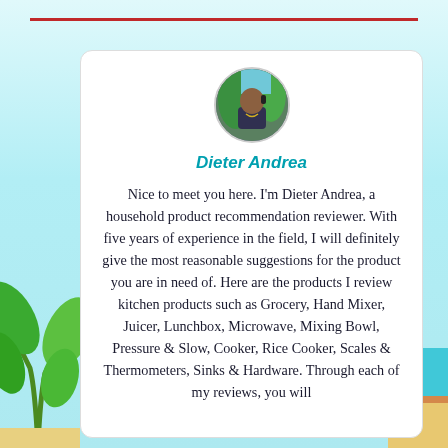[Figure (photo): Circular avatar photo of a man (Dieter Andrea) talking on the phone, wearing a dark shirt, with greenery visible in the background.]
Dieter Andrea
Nice to meet you here. I'm Dieter Andrea, a household product recommendation reviewer. With five years of experience in the field, I will definitely give the most reasonable suggestions for the product you are in need of. Here are the products I review kitchen products such as Grocery, Hand Mixer, Juicer, Lunchbox, Microwave, Mixing Bowl, Pressure & Slow, Cooker, Rice Cooker, Scales & Thermometers, Sinks & Hardware. Through each of my reviews, you will